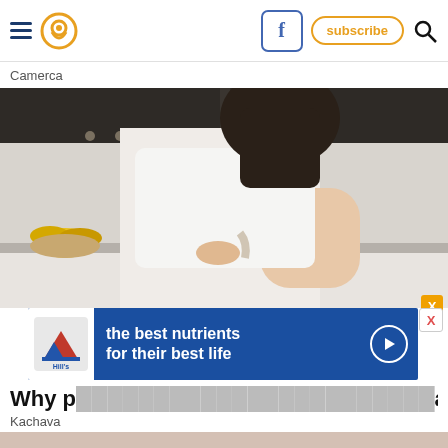Navigation header with hamburger menu, location icon, Facebook icon, subscribe button, and search icon
Camerca
[Figure (photo): Woman in white crop top pouring a protein shake from a blender jar into a glass jar on a kitchen counter. Background shows dark cabinets and bananas on the counter.]
[Figure (infographic): Hill's pet nutrition advertisement banner with blue background reading 'the best nutrients for their best life' with Hill's logo on the left and a play button on the right.]
Why p... ava
Kachava